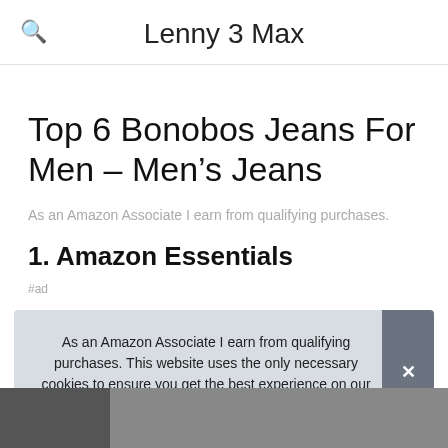Lenny 3 Max
Top 6 Bonobos Jeans For Men – Men's Jeans
As an Amazon Associate I earn from qualifying purchases.
1. Amazon Essentials
#ad
As an Amazon Associate I earn from qualifying purchases. This website uses the only necessary cookies to ensure you get the best experience on our website. More information